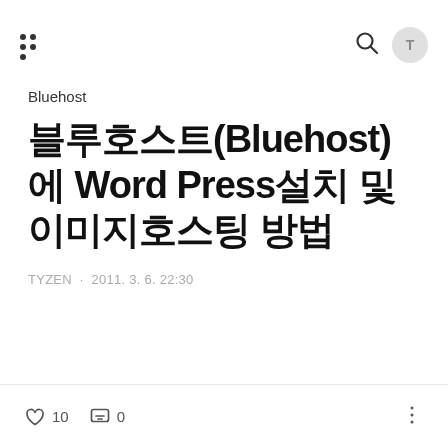Bluehost
블루호스트(Bluehost)에 WordPress설치 및 이미지호스팅 방법
TYZEN · 2011. 3. 6. 22:30
10 likes · 0 comments